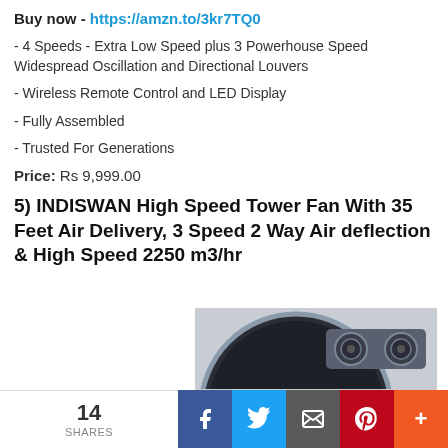Buy now - https://amzn.to/3kr7TQ0
- 4 Speeds - Extra Low Speed plus 3 Powerhouse Speed Widespread Oscillation and Directional Louvers
- Wireless Remote Control and LED Display
- Fully Assembled
- Trusted For Generations
Price: Rs 9,999.00
5) INDISWAN High Speed Tower Fan With 35 Feet Air Delivery, 3 Speed 2 Way Air deflection & High Speed 2250 m3/hr
[Figure (photo): Top portion of a dark-colored tower fan with control knobs visible]
14 SHARES | Facebook | Twitter | Email | Pinterest | More